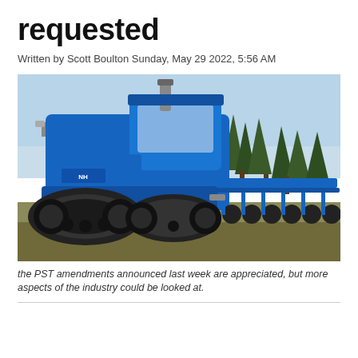requested
Written by Scott Boulton Sunday, May 29 2022, 5:56 AM
[Figure (photo): A large blue New Holland tracked tractor pulling farm equipment in a field, with evergreen trees in the background and a clear sky.]
the PST amendments announced last week are appreciated, but more aspects of the industry could be looked at.